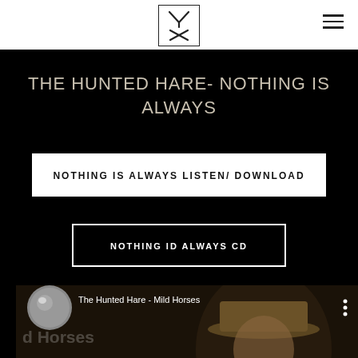[Figure (logo): Square logo with stylized Y/X letter mark inside a thin black border rectangle]
THE HUNTED HARE- NOTHING IS ALWAYS
NOTHING IS ALWAYS LISTEN/ DOWNLOAD
NOTHING ID ALWAYS CD
[Figure (screenshot): Video thumbnail showing The Hunted Hare - Mild Horses with a person wearing a hat, overlaid with channel name 'The Hunted Hare' in large white text]